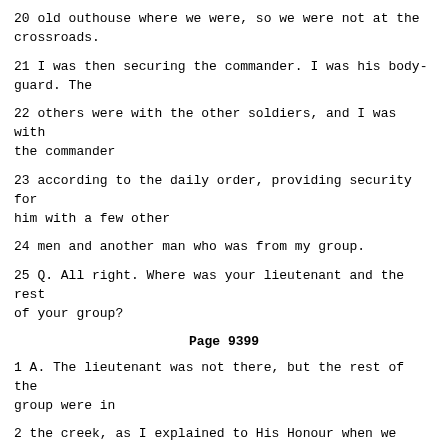20 old outhouse where we were, so we were not at the crossroads.
21 I was then securing the commander. I was his body-guard. The
22 others were with the other soldiers, and I was with the commander
23 according to the daily order, providing security for him with a few other
24 men and another man who was from my group.
25 Q. All right. Where was your lieutenant and the rest of your group?
Page 9399
1 A. The lieutenant was not there, but the rest of the group were in
2 the creek, as I explained to His Honour when we were saying that we were
3 there to prevent the KLA from leaving the village, not the civilians.
4 The creek running from that crossroads up the hill to the right.